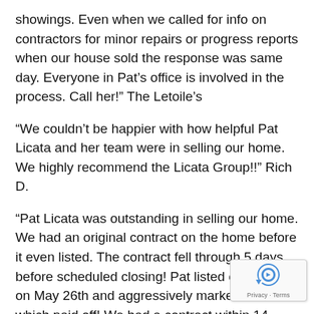showings. Even when we called for info on contractors for minor repairs or progress reports when our house sold the response was same day. Everyone in Pat’s office is involved in the process. Call her!” The Letoile’s
“We couldn’t be happier with how helpful Pat Licata and her team were in selling our home. We highly recommend the Licata Group!!” Rich D.
“Pat Licata was outstanding in selling our home. We had an original contract on the home before it even listed. The contract fell through 5 days before scheduled closing! Pat listed our home on May 26th and aggressively marketed it which paid off! We had a contract within 14 days an closed within 6 weeks!! We highly recommend Pat team!” The  Dennehy’s